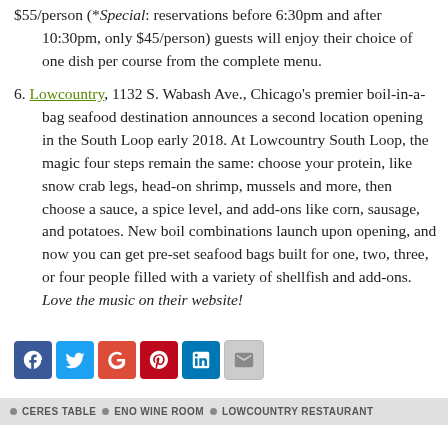$55/person (*Special: reservations before 6:30pm and after 10:30pm, only $45/person) guests will enjoy their choice of one dish per course from the complete menu.
6. Lowcountry, 1132 S. Wabash Ave., Chicago's premier boil-in-a-bag seafood destination announces a second location opening in the South Loop early 2018. At Lowcountry South Loop, the magic four steps remain the same: choose your protein, like snow crab legs, head-on shrimp, mussels and more, then choose a sauce, a spice level, and add-ons like corn, sausage, and potatoes. New boil combinations launch upon opening, and now you can get pre-set seafood bags built for one, two, three, or four people filled with a variety of shellfish and add-ons. Love the music on their website!
[Figure (infographic): Social media share icons: Facebook, Twitter, Google+, Pinterest, LinkedIn, Email]
CERES TABLE • ENO WINE ROOM • LOWCOUNTRY RESTAURANT